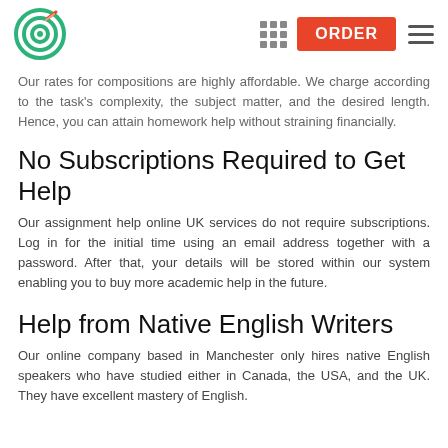Logo | ORDER | Menu
Our rates for compositions are highly affordable. We charge according to the task's complexity, the subject matter, and the desired length. Hence, you can attain homework help without straining financially.
No Subscriptions Required to Get Help
Our assignment help online UK services do not require subscriptions. Log in for the initial time using an email address together with a password. After that, your details will be stored within our system enabling you to buy more academic help in the future.
Help from Native English Writers
Our online company based in Manchester only hires native English speakers who have studied either in Canada, the USA, and the UK. They have excellent mastery of English.